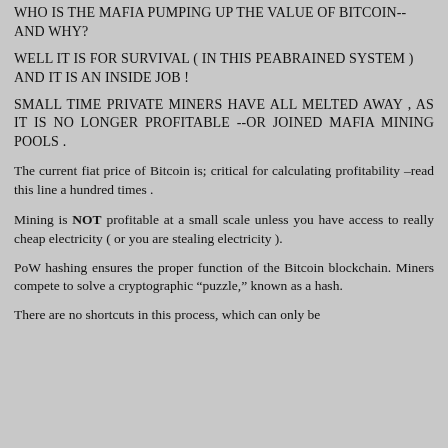WHO IS THE MAFIA PUMPING UP THE VALUE OF BITCOIN--AND WHY?
WELL IT IS FOR SURVIVAL ( in this peabrained system ) AND IT IS AN INSIDE JOB !
SMALL TIME PRIVATE MINERS HAVE ALL MELTED AWAY , AS IT IS NO LONGER PROFITABLE --OR JOINED MAFIA MINING POOLS .
The current fiat price of Bitcoin is; critical for calculating profitability –read this line a hundred times .
Mining is NOT profitable at a small scale unless you have access to really cheap electricity ( or you are stealing electricity ).
PoW hashing ensures the proper function of the Bitcoin blockchain. Miners compete to solve a cryptographic “puzzle,” known as a hash.
There are no shortcuts in this process, which can only be